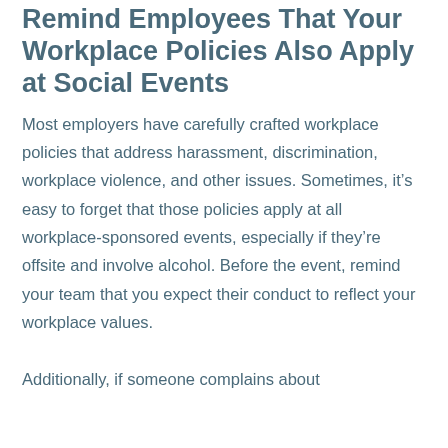Remind Employees That Your Workplace Policies Also Apply at Social Events
Most employers have carefully crafted workplace policies that address harassment, discrimination, workplace violence, and other issues. Sometimes, it's easy to forget that those policies apply at all workplace-sponsored events, especially if they're offsite and involve alcohol. Before the event, remind your team that you expect their conduct to reflect your workplace values.
Additionally, if someone complains about